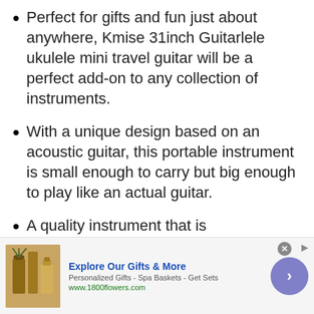Perfect for gifts and fun just about anywhere, Kmise 31inch Guitarlele ukulele mini travel guitar will be a perfect add-on to any collection of instruments.
With a unique design based on an acoustic guitar, this portable instrument is small enough to carry but big enough to play like an actual guitar.
A quality instrument that is
[Figure (other): Advertisement banner for 1800flowers.com — Explore Our Gifts & More. Shows product image of spa/gift items, text 'Personalized Gifts - Spa Baskets - Get Sets', URL www.1800flowers.com, close button, and a purple arrow button.]